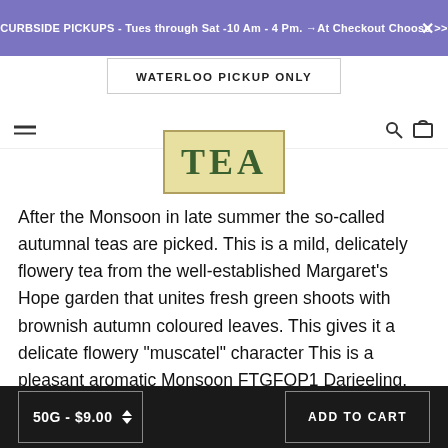CURBSIDE PICKUPS - Tues through Sat -10 Am - 4 Pm. →At Checkout Choose >>
WATERLOO PICKUP ONLY
[Figure (logo): TEA logo in green serif font on cream/yellow background with olive border]
After the Monsoon in late summer the so-called autumnal teas are picked. This is a mild, delicately flowery tea from the well-established Margaret's Hope garden that unites fresh green shoots with brownish autumn coloured leaves. This gives it a delicate flowery "muscatel" character This is a pleasant aromatic Monsoon FTGFOP1 Darjeeling. The well-made tippy leaf provides convincing evidence of this teas high quality. Darjeeling is a tea from the region of Darjeeling in West Bengal, India. This Darjeeling is from a well known estate called Margaret's Hope. They say that during the 1930's, the garden was owned by a Mr. Bagdon who lived in London but visited the tea garden regularly. He had two daughters. The younger daughter named Margaret who
50G - $9.00   ADD TO CART